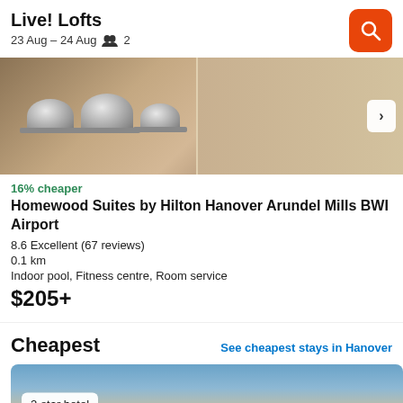Live! Lofts
23 Aug – 24 Aug   2
[Figure (photo): Photo of hotel buffet cloches on a counter with tile floor and cabinetry in background]
16% cheaper
Homewood Suites by Hilton Hanover Arundel Mills BWI Airport
8.6 Excellent (67 reviews)
0.1 km
Indoor pool, Fitness centre, Room service
$205+
Cheapest
See cheapest stays in Hanover
[Figure (photo): Photo of a 2-star hotel exterior building with trees in foreground]